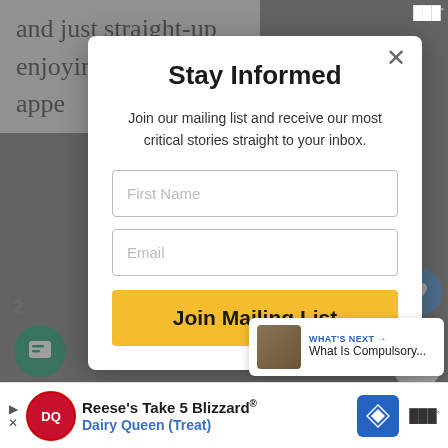and just straight-up enjoying someone's appe
[Figure (screenshot): Modal popup with 'Stay Informed' heading, mailing list join form with First Name and Email fields, and a 'Join Mailing List' button]
Stay Informed
Join our mailing list and receive our most critical stories straight to your inbox.
First Name
Email
Join Mailing List
[Figure (screenshot): What's Next widget showing a thumbnail and text 'What Is Compulsory...']
[Figure (screenshot): Dairy Queen advertisement banner: Reese's Take 5 Blizzard, Dairy Queen (Treat)]